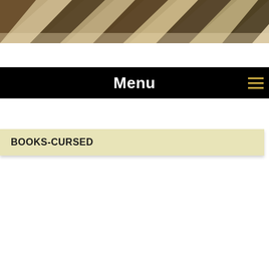[Figure (illustration): Zebra stripe pattern texture image cropped at the top of the page, showing brown and cream diagonal stripes]
Menu
BOOKS-CURSED